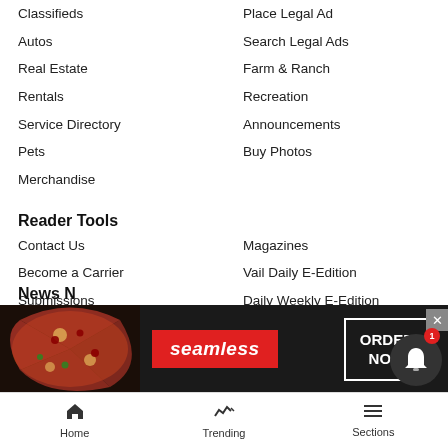Classifieds
Place Legal Ad
Autos
Search Legal Ads
Real Estate
Farm & Ranch
Rentals
Recreation
Service Directory
Announcements
Pets
Buy Photos
Merchandise
Reader Tools
Contact Us
Magazines
Become a Carrier
Vail Daily E-Edition
Submissions
Daily Weekly E-Edition
Advertise
Eagle Valley E-Edition
Submit an Obituary
Newsletters
Submit a Request to Update a Crime Story
Cookie List
Commercial Print Sales
Do not sell my personal information
RSS
News N…
[Figure (screenshot): Seamless food delivery ad banner with pizza image, red Seamless logo, and ORDER NOW button]
Home   Trending   Sections